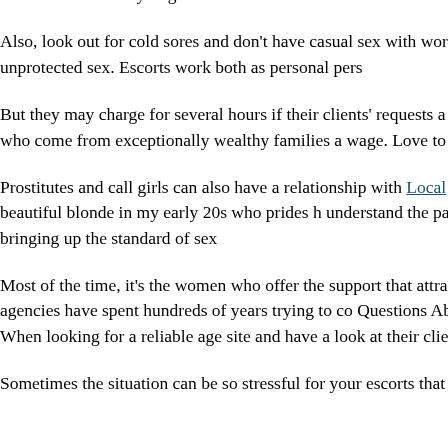look clean and ready to go.
Also, look out for cold sores and don't have casual sex with women who have had a lot of unprotected sex. Escorts work both as personal pers…
But they may charge for several hours if their clients' requests a… includes those who come from exceptionally wealthy families a… wage. Love to hear from you.
Prostitutes and call girls can also have a relationship with Local [link] hire them. I am a beautiful blonde in my early 20s who prides h… understand the part of escorts in bringing up the standard of sex…
Most of the time, it's the women who offer the support that attra… enforcement agencies have spent hundreds of years trying to co… Questions About Adult Dating! When looking for a reliable age… site and have a look at their client list.
Sometimes the situation can be so stressful for your escorts that…